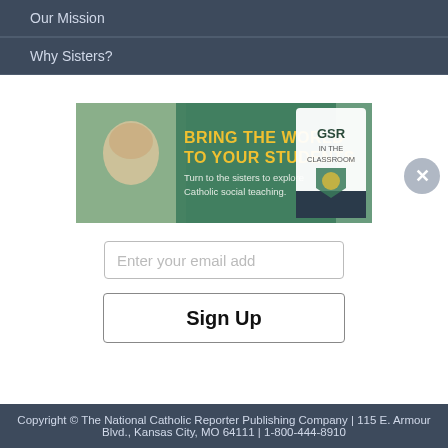Our Mission
Why Sisters?
[Figure (screenshot): GSR In The Classroom ad banner: 'BRING THE WORLD TO YOUR STUDENTS. Turn to the sisters to explore Catholic social teaching.' with GSR In The Classroom badge logo and a photo of smiling women.]
Enter your email address
Sign Up
Copyright © The National Catholic Reporter Publishing Company | 115 E. Armour Blvd., Kansas City, MO 64111 | 1-800-444-8910